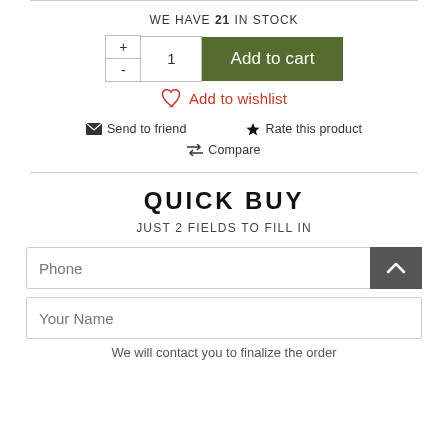WE HAVE 21 IN STOCK
[Figure (other): Quantity selector with + and - buttons, quantity value of 1, and Add to cart button]
Add to wishlist
Send to friend   Rate this product
Compare
QUICK BUY
JUST 2 FIELDS TO FILL IN
Phone
Your Name
We will contact you to finalize the order